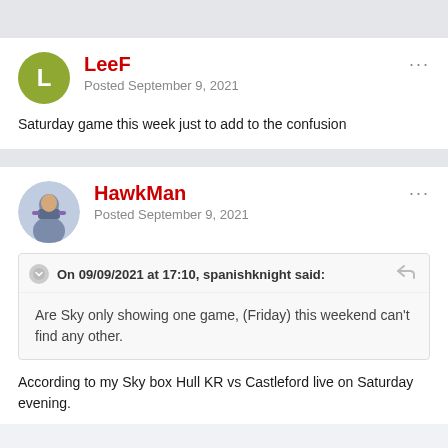LeeF
Posted September 9, 2021
Saturday game this week just to add to the confusion
HawkMan
Posted September 9, 2021
On 09/09/2021 at 17:10, spanishknight said:
Are Sky only showing one game, (Friday) this weekend can't find any other.
According to my Sky box Hull KR vs Castleford live on Saturday evening.